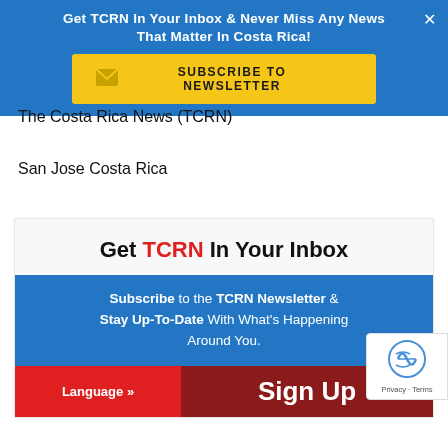Get TCRN In Your Inbox & Never Miss Any News That Matter In Costa Rica!
[Figure (infographic): Yellow subscribe to newsletter button with envelope icon]
The Costa Rica News (TCRN)
San Jose Costa Rica
[Figure (infographic): Ad box: Get TCRN In Your Inbox with blue subscribe section and Sign Up button]
Subscribe to the TCRN Newsletter & Stay Up-To-Date With What's Happening Around You.